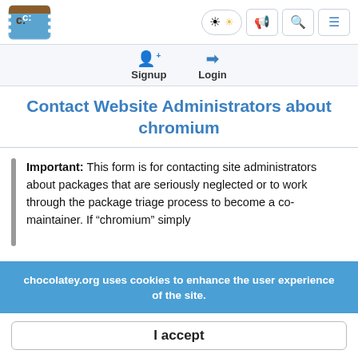Chocolatey logo, theme toggle, megaphone icon, search icon, menu icon
Signup  Login
Contact Website Administrators about chromium
Important: This form is for contacting site administrators about packages that are seriously neglected or to work through the package triage process to become a co-maintainer. If "chromium" simply
chocolatey.org uses cookies to enhance the user experience of the site.
I accept